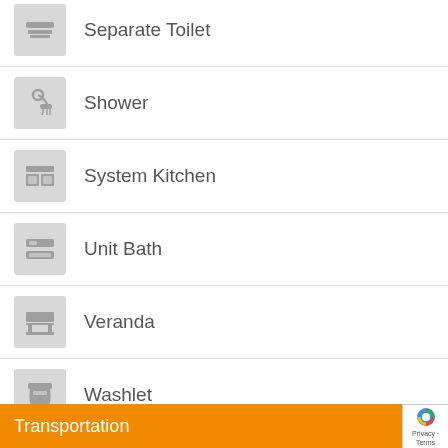Separate Toilet
Shower
System Kitchen
Unit Bath
Veranda
Washlet
Western Toilet
Transportation